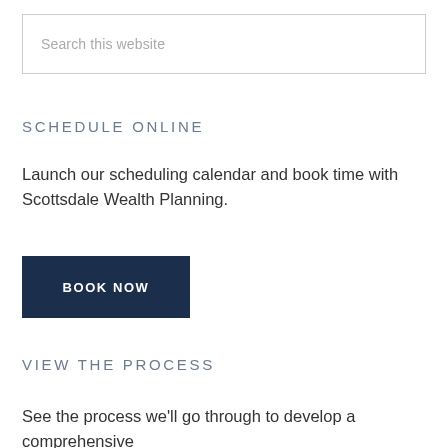Search this website
SCHEDULE ONLINE
Launch our scheduling calendar and book time with Scottsdale Wealth Planning.
BOOK NOW
VIEW THE PROCESS
See the process we'll go through to develop a comprehensive